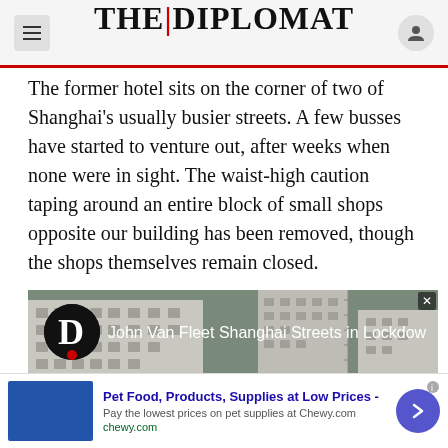THE DIPLOMAT
The former hotel sits on the corner of two of Shanghai's usually busier streets. A few busses have started to venture out, after weeks when none were in sight. The waist-high caution taping around an entire block of small shops opposite our building has been removed, though the shops themselves remain closed.
[Figure (screenshot): Video thumbnail showing Shanghai high-rise buildings during lockdown with text overlay 'John Van Fleet Shanghai Streets in Lockdown' and The Diplomat logo (D) in top left]
Pet Food, Products, Supplies at Low Prices - Pay the lowest prices on pet supplies at Chewy.com chewy.com